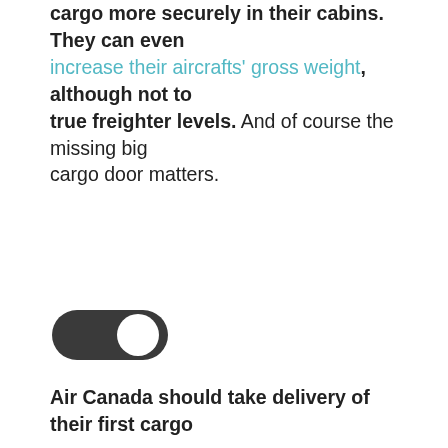cargo more securely in their cabins. They can even increase their aircrafts' gross weight, although not to true freighter levels. And of course the missing big cargo door matters.
[Figure (other): A toggle switch UI element in the ON (active/dark) state, with a white circle on the right side against a dark rounded background.]
Air Canada should take delivery of their first cargo